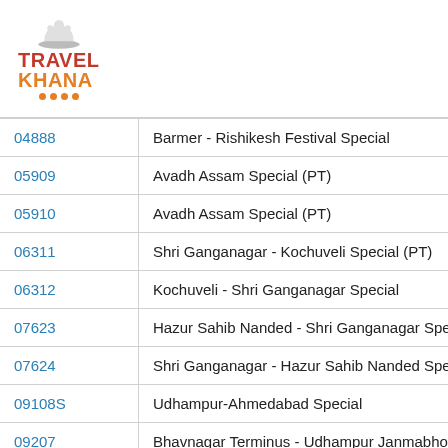Travel Khana logo
| Train Number | Train Name |
| --- | --- |
| 04888 | Barmer - Rishikesh Festival Special |
| 05909 | Avadh Assam Special (PT) |
| 05910 | Avadh Assam Special (PT) |
| 06311 | Shri Ganganagar - Kochuveli Special (PT) |
| 06312 | Kochuveli - Shri Ganganagar Special |
| 07623 | Hazur Sahib Nanded - Shri Ganganagar Spec |
| 07624 | Shri Ganganagar - Hazur Sahib Nanded Spec |
| 09108S | Udhampur-Ahmedabad Special |
| 09207 | Bhavnagar Terminus - Udhampur Janmabhoo |
| 09208 | Udhampur - Bhavnagar Terminus Janmabhoo |